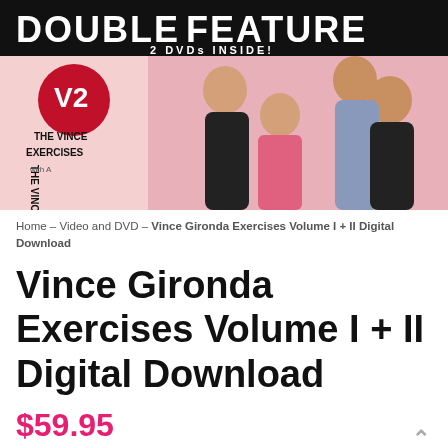[Figure (photo): DVD cover for Vince Gironda Exercises Volume I + II Double Feature showing V2 logo and fitness people posing]
Home – Video and DVD – Vince Gironda Exercises Volume I + II Digital Download
Vince Gironda Exercises Volume I + II Digital Download
$59.95